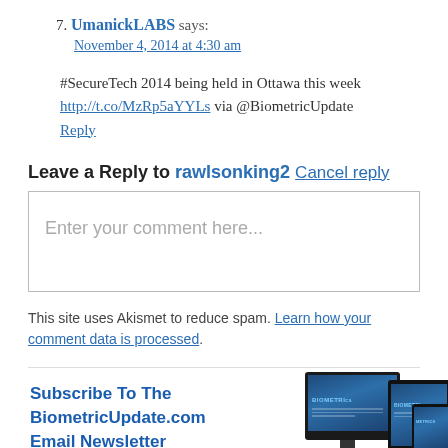7. UmanickLABS says: November 4, 2014 at 4:30 am
#SecureTech 2014 being held in Ottawa this week http://t.co/MzRp5aYYLs via @BiometricUpdate
Reply
Leave a Reply to rawlsonking2 Cancel reply
Enter your comment here...
This site uses Akismet to reduce spam. Learn how your comment data is processed.
Subscribe To The BiometricUpdate.com Email Newsletter
Stay on the cutting edge of the biometrics industry by subscribing to daily news updates from BiometricUpdate.com